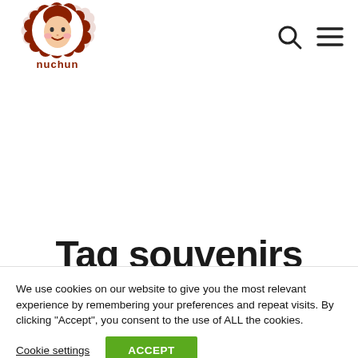[Figure (logo): Nuchun brand logo: cartoon girl face with curly red hair forming a cloud/wreath shape, text 'nuchun' in red below]
[Figure (other): Search icon (magnifying glass) and hamburger menu icon in top-right navigation]
Tag souvenirs (partially visible, cut off at bottom)
We use cookies on our website to give you the most relevant experience by remembering your preferences and repeat visits. By clicking “Accept”, you consent to the use of ALL the cookies.
Cookie settings
ACCEPT